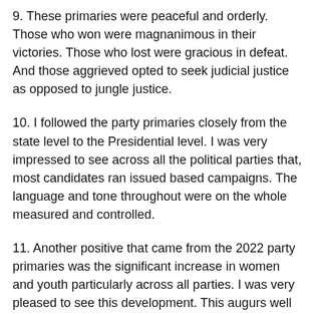9. These primaries were peaceful and orderly. Those who won were magnanimous in their victories. Those who lost were gracious in defeat. And those aggrieved opted to seek judicial justice as opposed to jungle justice.
10. I followed the party primaries closely from the state level to the Presidential level. I was very impressed to see across all the political parties that, most candidates ran issued based campaigns. The language and tone throughout were on the whole measured and controlled.
11. Another positive that came from the 2022 party primaries was the significant increase in women and youth particularly across all parties. I was very pleased to see this development. This augurs well for the future. These trends clearly show the level of maturity our democracy has achieved in the last 23 years.